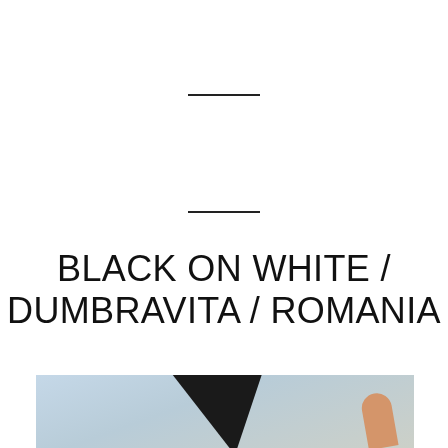BLACK ON WHITE / DUMBRAVITA / ROMANIA
[Figure (photo): Partial view of a person holding a black rectangular object against a light blue background, bottom portion of image visible]